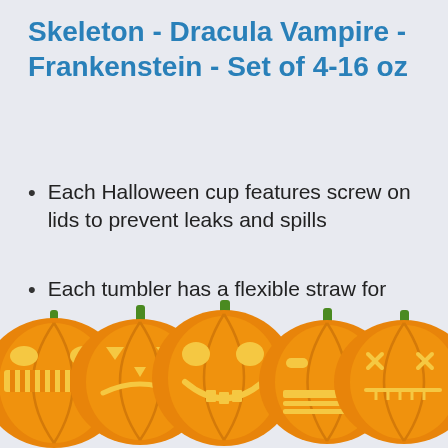Skeleton - Dracula Vampire - Frankenstein - Set of 4-16 oz
Each Halloween cup features screw on lids to prevent leaks and spills
Each tumbler has a flexible straw for kids to easily grab a sip of their drink
Durable plastic Halloween cups for kids with kid friendly designs
[Figure (illustration): Row of five carved jack-o-lantern pumpkins with orange bodies and green stems, each with different facial expressions, at the bottom of the page. Partially visible text 'Pumpkin' and 'to' visible behind pumpkins.]